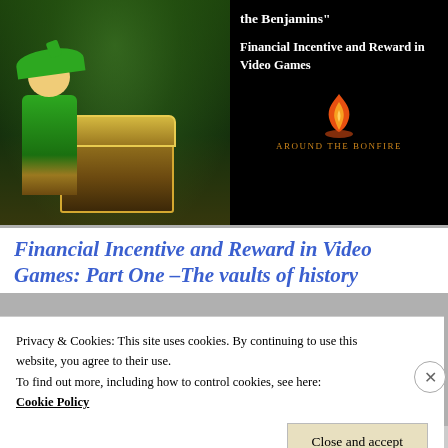[Figure (screenshot): Thumbnail image split: left side shows a video game scene (Zelda-like character opening a treasure chest in a forest), right side shows black background with white text 'the Benjamins" Financial Incentive and Reward in Video Games' and the Around the Bonfire logo with flame icon]
Financial Incentive and Reward in Video Games: Part One –The vaults of history
Privacy & Cookies: This site uses cookies. By continuing to use this website, you agree to their use.
To find out more, including how to control cookies, see here:
Cookie Policy
Close and accept